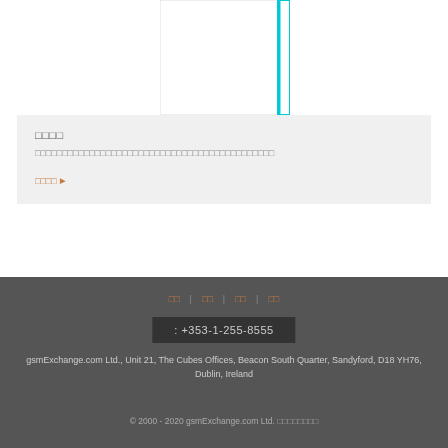[Figure (illustration): White rectangular box with a cyan/teal right border, positioned in the upper center area]
□□□□
□□□□□□□□□□□□□□□□□□□□□□□□□□□□□□□□□□□□□□□□□□□□
□□□□ ▶
□□ | □□ | □□ | □□
: +353-1-255-8555
gsmExchange.com Ltd., Unit 21, The Cubes Offices, Beacon South Quarter, Sandyford, D18 YH76, Dublin, Ireland
© 2000 - 2020 gsmExchange.com Ltd. □□□□□□□□